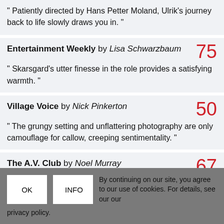" Patiently directed by Hans Petter Moland, Ulrik's journey back to life slowly draws you in. "
Entertainment Weekly by Lisa Schwarzbaum 75 " Skarsgard's utter finesse in the role provides a satisfying warmth. "
Village Voice by Nick Pinkerton 50 " The grungy setting and unflattering photography are only camouflage for callow, creeping sentimentality. "
The A.V. Club by Noel Murray 67 " Skarsgård brings some redemptive soul to the role
By continuing on our site, you agree to our use of cookies. For details, see our our privacy policy.